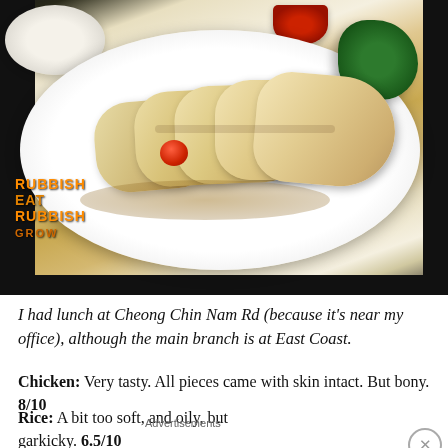[Figure (photo): Photo of Hainanese chicken rice dish on a white oval plate, with sliced poached chicken, garnish of greens and tomato, alongside a bowl of rice and a bowl of red chili sauce. Watermark reads RUBBISH EAT RUBBISH GROW in orange/yellow text.]
I had lunch at Cheong Chin Nam Rd (because it's near my office), although the main branch is at East Coast.
Chicken: Very tasty. All pieces came with skin intact. But bony. 8/10
Rice: A bit too soft, and oily, but garkicky. 6.5/10
Advertisements
[Figure (other): Advertisement banner with dark navy background. Text: Opinions. We all have them! With WordPress logo and another circular logo on the right.]